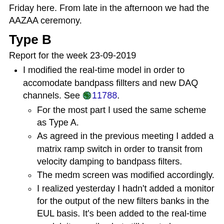Friday here. From late in the afternoon we had the AAZAA ceremony.
Type B
Report for the week 23-09-2019
I modified the real-time model in order to accomodate bandpass fillters and new DAQ channels. See 🌐 11788.
For the most part I used the same scheme as Type A.
As agreed in the previous meeting I added a matrix ramp switch in order to transit from velocity damping to bandpass filters.
The medm screen was modified accordingly.
I realized yesterday I hadn't added a monitor for the output of the new filters banks in the EUL basis. It's been added to the real-time model, it compiles but still has to be installed.
Real-time models for SR suspensionsmust be compiled and installed.
Together with Terrence I modified vistools in order to generate functions to manipulate added filter banks. See 🌐 11788.